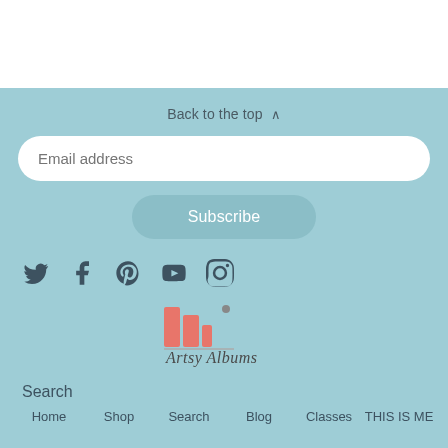Back to the top ^
Email address
Subscribe
[Figure (illustration): Social media icons: Twitter, Facebook, Pinterest, YouTube, Instagram]
[Figure (logo): Artsy Albums logo with colorful bar chart graphic and script text]
Search
Home   Shop   Search   Blog   Classes   THIS IS ME